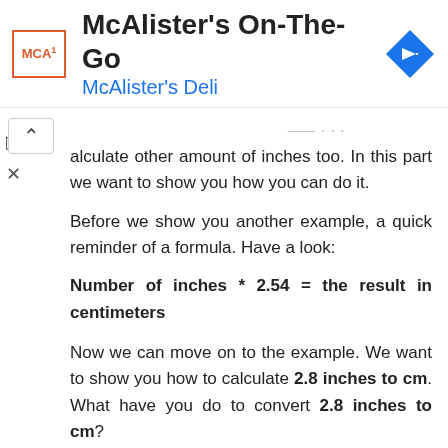[Figure (logo): McAlister's On-The-Go app advertisement banner with MCA logo, app name, McAlister's Deli subtitle, and a blue navigation arrow icon]
calculate other amount of inches too. In this part we want to show you how you can do it.
Before we show you another example, a quick reminder of a formula. Have a look:
Now we can move on to the example. We want to show you how to calculate 2.8 inches to cm. What have you do to convert 2.8 inches to cm?
As in the previous examples, you have to multiply amount of inches by 2.54 to get the result in centimeters.